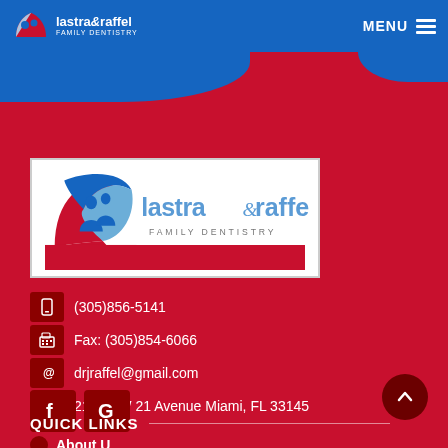lastra&raffel FAMILY DENTISTRY — MENU
[Figure (logo): Lastra & Raffel Family Dentistry logo — red swoosh with blue silhouettes of people, text 'lastra&raffel FAMILY DENTISTRY' on blue/white background]
(305)856-5141
Fax: (305)854-6066
drjraffel@gmail.com
2150 SW 21 Avenue Miami, FL 33145
QUICK LINKS